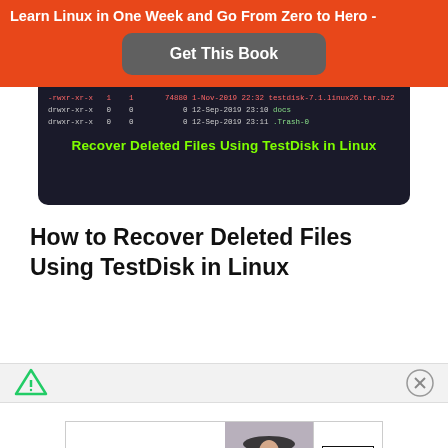Learn Linux in One Week and Go From Zero to Hero -
Get This Book
[Figure (screenshot): Terminal screenshot showing directory listing with drwxr-xr-x entries for docs and .Trash-0, with green text overlay: Recover Deleted Files Using TestDisk in Linux]
How to Recover Deleted Files Using TestDisk in Linux
[Figure (logo): Ad bar with triangular filter icon on left and close (X) button on right]
[Figure (photo): Bloomingdale's advertisement showing a woman in a hat with text: bloomingdales, View Today's Top Deals!, SHOP NOW >]